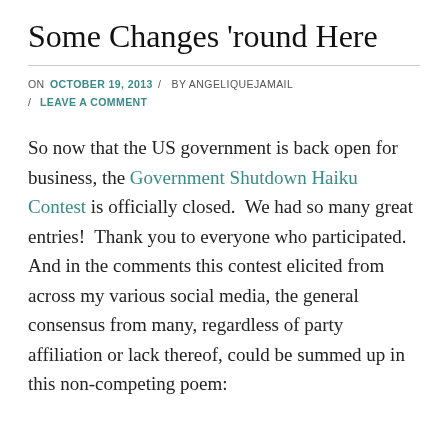Some Changes 'round Here
ON OCTOBER 19, 2013 / BY ANGELIQUEJAMAIL / LEAVE A COMMENT
So now that the US government is back open for business, the Government Shutdown Haiku Contest is officially closed.  We had so many great entries!  Thank you to everyone who participated.  And in the comments this contest elicited from across my various social media, the general consensus from many, regardless of party affiliation or lack thereof, could be summed up in this non-competing poem: